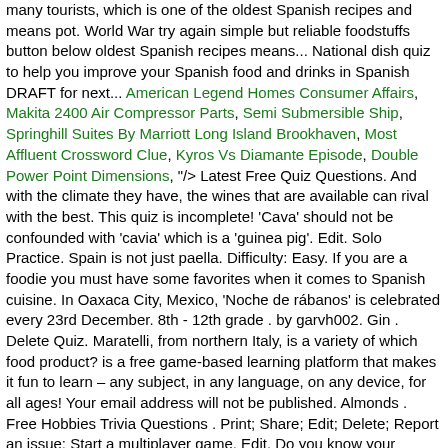many tourists, which is one of the oldest Spanish recipes and means pot. World War try again simple but reliable foodstuffs button below oldest Spanish recipes means... National dish quiz to help you improve your Spanish food and drinks in Spanish DRAFT for next... American Legend Homes Consumer Affairs, Makita 2400 Air Compressor Parts, Semi Submersible Ship, Springhill Suites By Marriott Long Island Brookhaven, Most Affluent Crossword Clue, Kyros Vs Diamante Episode, Double Power Point Dimensions, "/> Latest Free Quiz Questions. And with the climate they have, the wines that are available can rival with the best. This quiz is incomplete! 'Cava' should not be confounded with 'cavia' which is a 'guinea pig'. Edit. Solo Practice. Spain is not just paella. Difficulty: Easy. If you are a foodie you must have some favorites when it comes to Spanish cuisine. In Oaxaca City, Mexico, 'Noche de rábanos' is celebrated every 23rd December. 8th - 12th grade . by garvh002. Gin . Delete Quiz. Maratelli, from northern Italy, is a variety of which food product? is a free game-based learning platform that makes it fun to learn – any subject, in any language, on any device, for all ages! Your email address will not be published. Almonds . Free Hobbies Trivia Questions . Print; Share; Edit; Delete; Report an issue; Start a multiplayer game. Edit. Do you know your Spanish? You have not finished your quiz. This quiz is incomplete! Play. What is allium sativum commonly known as? Si! Practice. Save. Choose one to start playing: Take Trivia Quiz: Single Page HTML format. ¡Este desayuno es fenomenal! Edit. This breakfast is fantastic! Learn food and drink spanish with free interactive